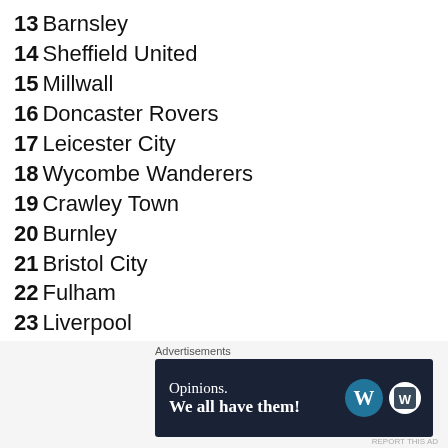13 Barnsley
14 Sheffield United
15 Millwall
16 Doncaster Rovers
17 Leicester City
18 Wycombe Wanderers
19 Crawley Town
20 Burnley
21 Bristol City
22 Fulham
23 Liverpool
24 Brentford
25 Manchester City
26 Luton Town
27 Chelsea (partial)
Advertisements
[Figure (other): Advertisement banner: Opinions. We all have them! with WordPress logo]